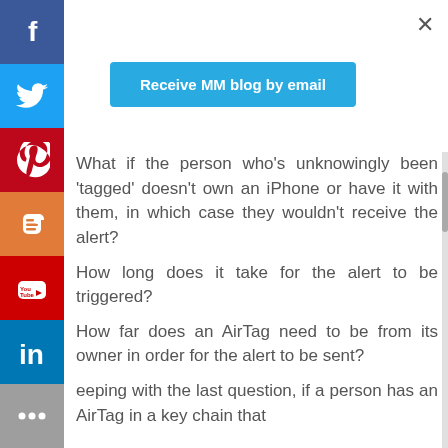[Figure (infographic): Social media share sidebar with Facebook, Twitter, Pinterest, Blogger, YouTube, LinkedIn, and More buttons on the left side]
× (close button)
Receive MM blog by email
What if the person who's unknowingly been 'tagged' doesn't own an iPhone or have it with them, in which case they wouldn't receive the alert?
How long does it take for the alert to be triggered?
How far does an AirTag need to be from its owner in order for the alert to be sent?
eeping with the last question, if a person has an AirTag in a key chain that